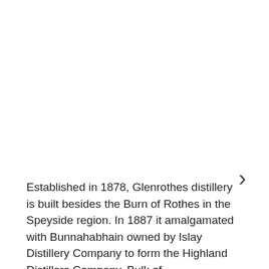[Figure (other): Right-pointing chevron navigation arrow]
Established in 1878, Glenrothes distillery is built besides the Burn of Rothes in the Speyside region. In 1887 it amalgamated with Bunnahabhain owned by Islay Distillery Company to form the Highland Distillers Company. Bulk of